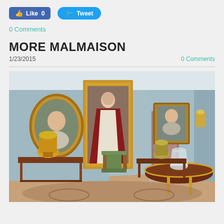[Figure (other): Facebook Like button (count: 0) and Twitter Tweet button]
0 Comments
MORE MALMAISON
1/23/2015
0 Comments
[Figure (photo): Interior room of Château de Malmaison showing ornate Empire-style furniture, gilded console tables with large decorative urns, a round table with a crystal vase, green upholstered chairs, and walls hung with three portraits of a woman in Empire dress and robes, blue-grey walls, patterned floor.]